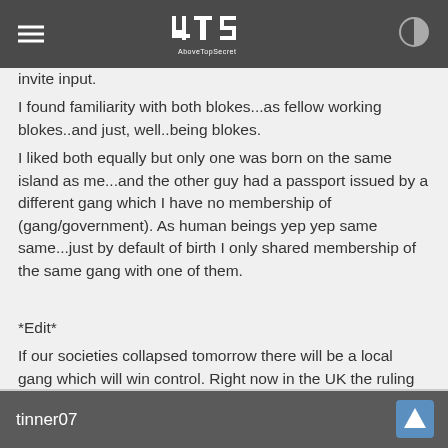ATS AboveTopSecret
invite input.
I found familiarity with both blokes...as fellow working blokes..and just, well..being blokes.
I liked both equally but only one was born on the same island as me...and the other guy had a passport issued by a different gang which I have no membership of (gang/government). As human beings yep yep same same...just by default of birth I only shared membership of the same gang with one of them.

*Edit*
If our societies collapsed tomorrow there will be a local gang which will win control. Right now in the UK the ruling gang is the folk who issue the passports...
edit on 28-4-2014 by grainofsand because: (no reason given)
tinner07